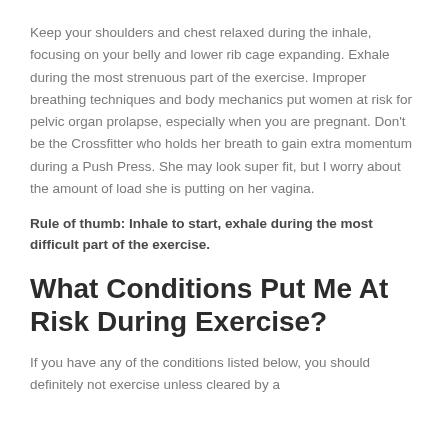Keep your shoulders and chest relaxed during the inhale, focusing on your belly and lower rib cage expanding. Exhale during the most strenuous part of the exercise. Improper breathing techniques and body mechanics put women at risk for pelvic organ prolapse, especially when you are pregnant. Don't be the Crossfitter who holds her breath to gain extra momentum during a Push Press. She may look super fit, but I worry about the amount of load she is putting on her vagina.
Rule of thumb: Inhale to start, exhale during the most difficult part of the exercise.
What Conditions Put Me At Risk During Exercise?
If you have any of the conditions listed below, you should definitely not exercise unless cleared by a